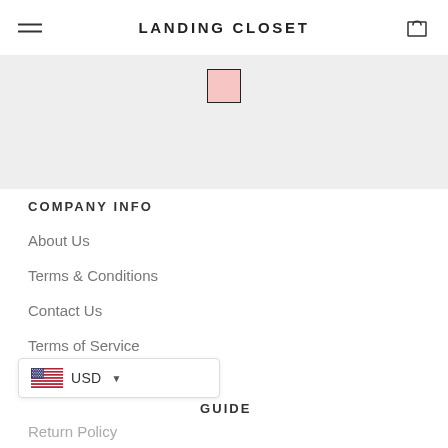LANDING CLOSET
[Figure (illustration): Light gray banner area with a small pink color swatch centered near the top]
COMPANY INFO
About Us
Terms & Conditions
Contact Us
Terms of Service
Refund policy
[Figure (illustration): Currency selector widget showing US flag and USD with dropdown arrow]
GUIDE
Return Policy